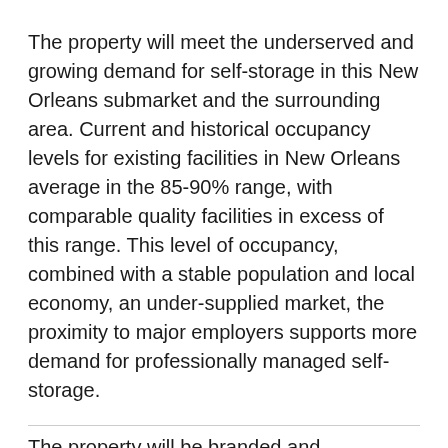The property will meet the underserved and growing demand for self-storage in this New Orleans submarket and the surrounding area. Current and historical occupancy levels for existing facilities in New Orleans average in the 85-90% range, with comparable quality facilities in excess of this range. This level of occupancy, combined with a stable population and local economy, an under-supplied market, the proximity to major employers supports more demand for professionally managed self-storage.
The property will be branded and professionally managed by Extra Space Storage asset management.